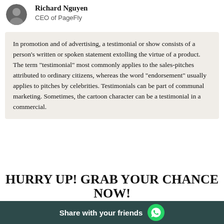[Figure (photo): Circular avatar photo of Richard Nguyen]
Richard Nguyen
CEO of PageFly
In promotion and of advertising, a testimonial or show consists of a person's written or spoken statement extolling the virtue of a product. The term "testimonial" most commonly applies to the sales-pitches attributed to ordinary citizens, whereas the word "endorsement" usually applies to pitches by celebrities. Testimonials can be part of communal marketing. Sometimes, the cartoon character can be a testimonial in a commercial.
HURRY UP! GRAB YOUR CHANCE NOW!
Share with your friends